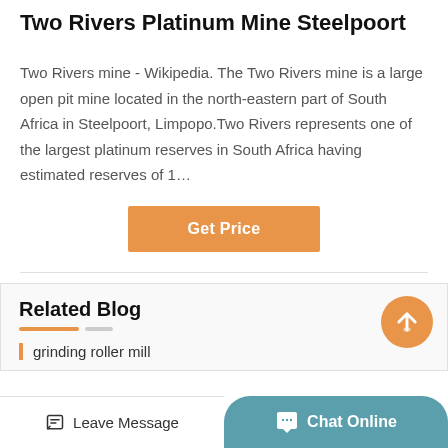Two Rivers Platinum Mine Steelpoort
Two Rivers mine - Wikipedia. The Two Rivers mine is a large open pit mine located in the north-eastern part of South Africa in Steelpoort, Limpopo.Two Rivers represents one of the largest platinum reserves in South Africa having estimated reserves of 1…
Get Price
Related Blog
grinding roller mill